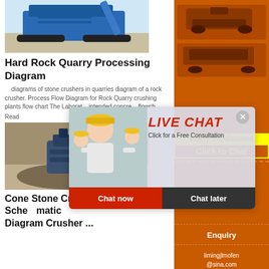[Figure (photo): Blue rock crusher machine on a quarry site with gravel/stone ground]
Hard Rock Quarry Processing Diagram
diagrams of stone crushers in quarries diagram of a rock crusher. Process Flow Diagram for Rock Quarry crushing plants flow chart The Laboratory intended concrete flowchart
Read
[Figure (photo): Cone stone crusher machine operating at a quarry site]
Cone Stone Crusher Machines Schematic Diagram Crusher ...
[Figure (photo): Sidebar advertisement showing industrial crushing machines]
Enjoy 3% discount
Click to Chat
Enquiry
limingjlmofen@sina.com
[Figure (infographic): Live Chat popup with person in yellow hard hat and Chat now / Chat later buttons]